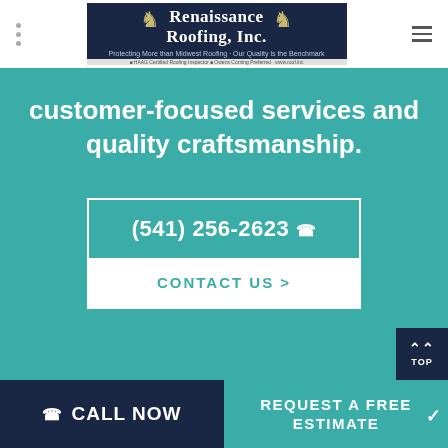[Figure (logo): Renaissance Roofing Inc. logo on dark navy background with knight figures]
customer-focused services and quality craftsmanship.
(541) 256-2623
CONTACT US >
CALL NOW
REQUEST A FREE ESTIMATE